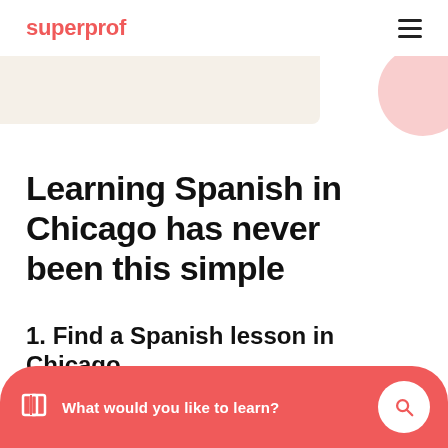superprof
[Figure (illustration): Hero banner area with beige rectangular bar on left and pink circle on right]
Learning Spanish in Chicago has never been this simple
1. Find a Spanish lesson in Chicago
Consult profiles of native Spanish speakers in Chicago and contact the tutor that fits your needs (prices, qualifications, reviews, home or online lessons).
What would you like to learn?